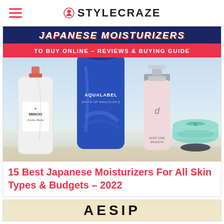STYLECRAZE
[Figure (photo): Hero image showing Japanese moisturizer products including MINON Amino Moist, AQUALABEL White Up Emulsion, a pink Clinique-style serum, and a mint green jar, with text overlays: 'JAPANESE MOISTURIZERS TO BUY ONLINE – REVIEWS & BUYING GUIDE']
15 Best Japanese Moisturizers For All Skin Types & Budgets – 2022
[Figure (photo): Partial view of a second article card showing large bold letters 'AESOP' or similar brand text on a beige/warm background]